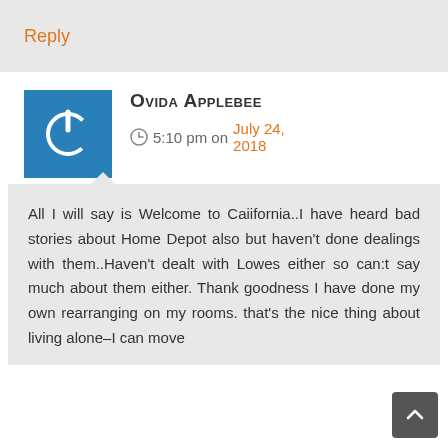Reply
[Figure (illustration): Blue square avatar with white power button icon]
Ovida Applebee
5:10 pm on July 24, 2018
All I will say is Welcome to Caiifornia..I have heard bad stories about Home Depot also but haven't done dealings with them..Haven't dealt with Lowes either so can:t say much about them either. Thank goodness I have done my own rearranging on my rooms. that's the nice thing about living alone–I can move